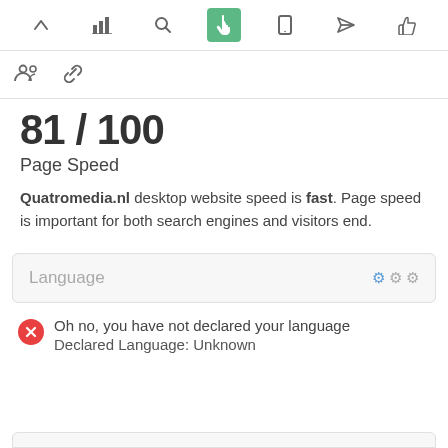[Figure (screenshot): Top navigation toolbar with icons: up arrow, bar chart, search, hand pointer (active/green), mobile, send, thumbs up]
[Figure (screenshot): Second toolbar row with people group icon and chain/link icon]
81 / 100
Page Speed
Quatromedia.nl desktop website speed is fast. Page speed is important for both search engines and visitors end.
Language
Oh no, you have not declared your language
Declared Language: Unknown